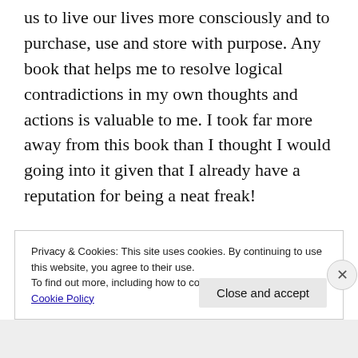us to live our lives more consciously and to purchase, use and store with purpose. Any book that helps me to resolve logical contradictions in my own thoughts and actions is valuable to me. I took far more away from this book than I thought I would going into it given that I already have a reputation for being a neat freak!
Privacy & Cookies: This site uses cookies. By continuing to use this website, you agree to their use.
To find out more, including how to control cookies, see here:
Cookie Policy